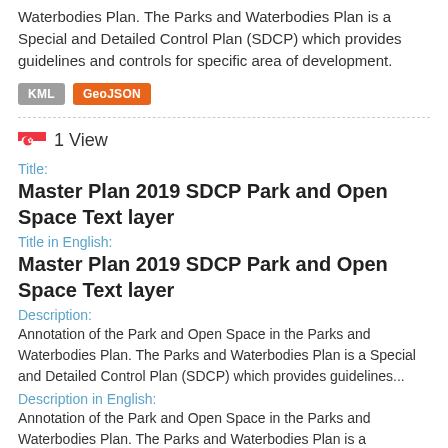Waterbodies Plan. The Parks and Waterbodies Plan is a Special and Detailed Control Plan (SDCP) which provides guidelines and controls for specific area of development.
[Figure (other): KML and GeoJSON download badges]
1 View
Title:
Master Plan 2019 SDCP Park and Open Space Text layer
Title in English:
Master Plan 2019 SDCP Park and Open Space Text layer
Description:
Annotation of the Park and Open Space in the Parks and Waterbodies Plan. The Parks and Waterbodies Plan is a Special and Detailed Control Plan (SDCP) which provides guidelines...
Description in English:
Annotation of the Park and Open Space in the Parks and Waterbodies Plan. The Parks and Waterbodies Plan is a